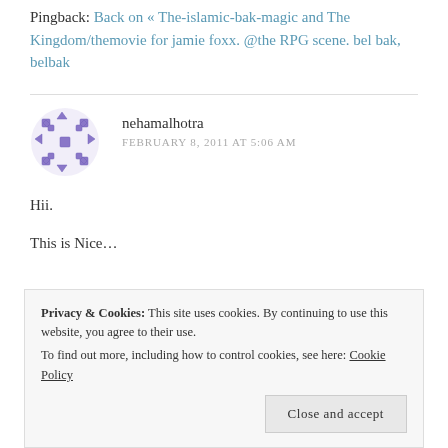Pingback: Back on « The-islamic-bak-magic and The Kingdom/themovie for jamie foxx. @the RPG scene. bel bak, belbak
nehamalhotra
FEBRUARY 8, 2011 AT 5:06 AM
Hii.
This is Nice...
Privacy & Cookies: This site uses cookies. By continuing to use this website, you agree to their use. To find out more, including how to control cookies, see here: Cookie Policy
Close and accept